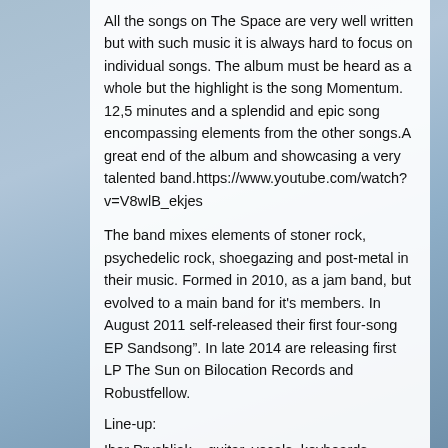All the songs on The Space are very well written but with such music it is always hard to focus on individual songs. The album must be heard as a whole but the highlight is the song Momentum. 12,5 minutes and a splendid and epic song encompassing elements from the other songs.A great end of the album and showcasing a very talented band.https://www.youtube.com/watch?v=V8wlB_ekjes
The band mixes elements of stoner rock, psychedelic rock, shoegazing and post-metal in their music. Formed in 2010, as a jam band, but evolved to a main band for it's members. In August 2011 self-released their first four-song EP Sandsong". In late 2014 are releasing first LP The Sun on Bilocation Records and Robustfellow.
Line-up:
Ihor Pryshliak – guitar, vocals, keyboards